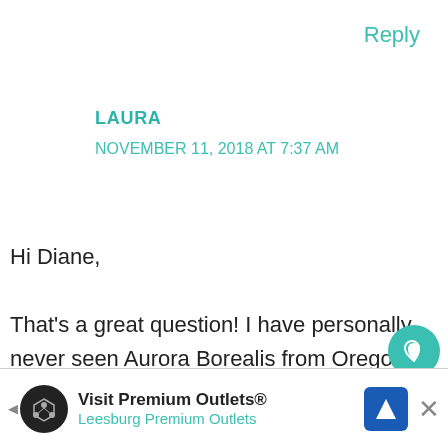Reply
LAURA
NOVEMBER 11, 2018 AT 7:37 AM
Hi Diane,

That's a great question! I have personally never seen Aurora Borealis from Oregon but I did some reading on it and it seems that occasionally it's possible when weather conditions are just right (high K-
[Figure (infographic): Social sharing widget with heart button showing 235K likes and a share button]
[Figure (infographic): What's Next overlay showing a thumbnail image with text 'The 11 Best VRBOs On...']
[Figure (infographic): Advertisement banner: Visit Premium Outlets® Leesburg Premium Outlets with close button]